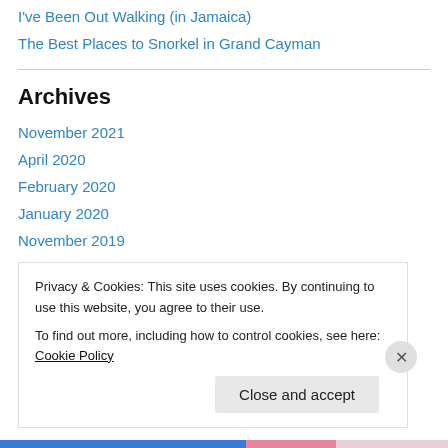I've Been Out Walking (in Jamaica)
The Best Places to Snorkel in Grand Cayman
Archives
November 2021
April 2020
February 2020
January 2020
November 2019
September 2019
February 2019
Privacy & Cookies: This site uses cookies. By continuing to use this website, you agree to their use.
To find out more, including how to control cookies, see here: Cookie Policy
Close and accept